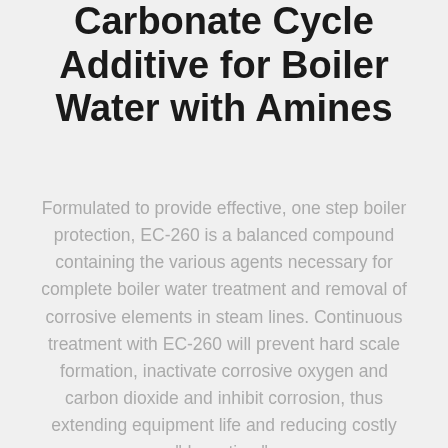Carbonate Cycle Additive for Boiler Water with Amines
Formulated to provide effective, one step boiler protection, EC-260 is a balanced compound containing the various agents necessary for complete boiler water treatment and removal of corrosive elements in steam lines. Continuous treatment with EC-260 will prevent hard scale formation, inactivate corrosive oxygen and carbon dioxide and inhibit corrosion, thus extending equipment life and reducing costly "down time".